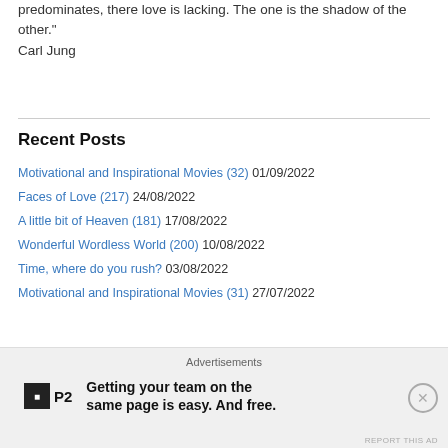predominates, there love is lacking. The one is the shadow of the other."
Carl Jung
Recent Posts
Motivational and Inspirational Movies (32) 01/09/2022
Faces of Love (217) 24/08/2022
A little bit of Heaven (181) 17/08/2022
Wonderful Wordless World (200) 10/08/2022
Time, where do you rush? 03/08/2022
Motivational and Inspirational Movies (31) 27/07/2022
[Figure (screenshot): Language select dropdown showing 'Select Language']
[Figure (infographic): Advertisement banner: P2 logo with tagline 'Getting your team on the same page is easy. And free.']